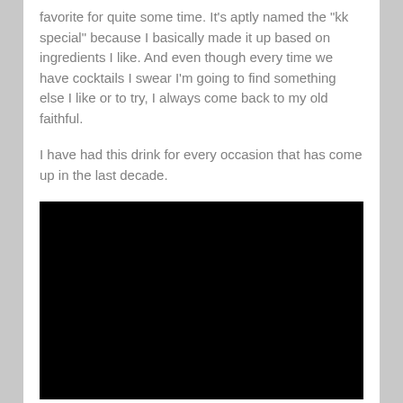favorite for quite some time. It's aptly named the "kk special" because I basically made it up based on ingredients I like. And even though every time we have cocktails I swear I'm going to find something else I like or to try, I always come back to my old faithful.
I have had this drink for every occasion that has come up in the last decade.
[Figure (photo): A completely black image, likely a photo that failed to load or is obscured.]